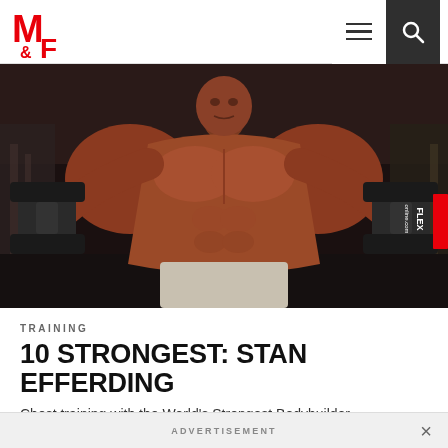M&F (Muscle & Fitness) navigation bar with logo, hamburger menu, and search icon
[Figure (photo): A heavily muscular bald bodybuilder holding large dumbbells in a gym, shirtless, very muscular physique, with FLEX online watermark]
TRAINING
10 STRONGEST: STAN EFFERDING
Chest training with the World's Strongest Bodybuilder
ADVERTISEMENT